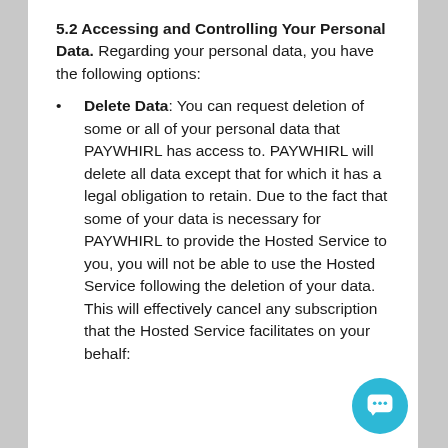5.2 Accessing and Controlling Your Personal Data. Regarding your personal data, you have the following options:
Delete Data: You can request deletion of some or all of your personal data that PAYWHIRL has access to. PAYWHIRL will delete all data except that for which it has a legal obligation to retain. Due to the fact that some of your data is necessary for PAYWHIRL to provide the Hosted Service to you, you will not be able to use the Hosted Service following the deletion of your data. This will effectively cancel any subscription that the Hosted Service facilitates on your behalf: